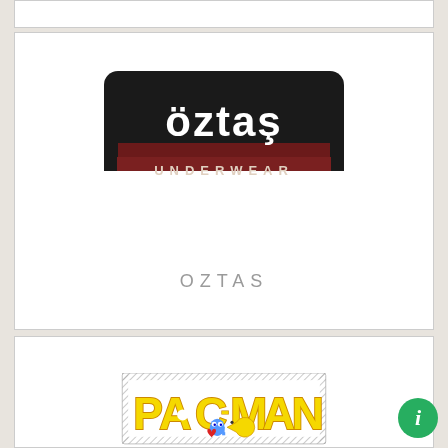[Figure (logo): Öztas Underwear logo - black rounded rectangle with white stylized text 'öztas' and dark red bar below with 'UNDERWEAR' text]
OZTAS
[Figure (logo): PAC-MAN logo with colorful yellow PAC-MAN letters, ghost characters, and diagonal striped border frame]